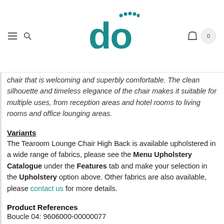do [logo]
chair that is welcoming and superbly comfortable. The clean silhouette and timeless elegance of the chair makes it suitable for multiple uses, from reception areas and hotel rooms to living rooms and office lounging areas.
Variants
The Tearoom Lounge Chair High Back is available upholstered in a wide range of fabrics, please see the Menu Upholstery Catalogue under the Features tab and make your selection in the Upholstery option above. Other fabrics are also available, please contact us for more details.
Product References
Boucle 04: 9606000-00000077